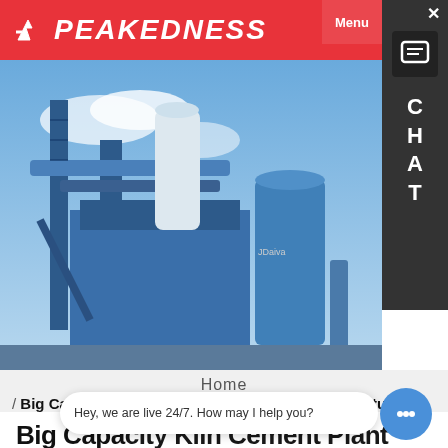PEAKEDNESS
[Figure (photo): Industrial cement/asphalt plant with blue steel structures, silos, and conveyor systems against a blue sky background]
Home
/ Big Capacity Kiln Cement Plant For Sale/Manufacture Plant/Silica Sand For Pipe Mill
Big Capacity Kiln Cement Plant For Sale/Manufacture Plant/Silica